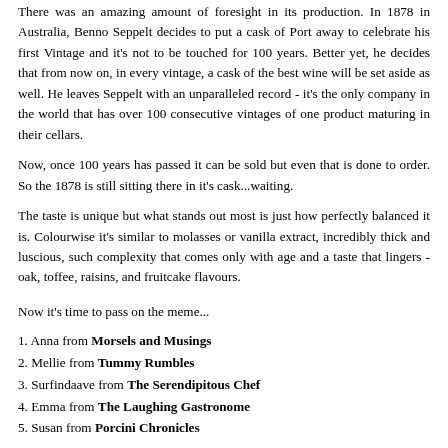There was an amazing amount of foresight in its production. In 1878 in Australia, Benno Seppelt decides to put a cask of Port away to celebrate his first Vintage and it's not to be touched for 100 years. Better yet, he decides that from now on, in every vintage, a cask of the best wine will be set aside as well. He leaves Seppelt with an unparalleled record - it's the only company in the world that has over 100 consecutive vintages of one product maturing in their cellars.
Now, once 100 years has passed it can be sold but even that is done to order. So the 1878 is still sitting there in it's cask...waiting.
The taste is unique but what stands out most is just how perfectly balanced it is. Colourwise it's similar to molasses or vanilla extract, incredibly thick and luscious, such complexity that comes only with age and a taste that lingers - oak, toffee, raisins, and fruitcake flavours.
Now it's time to pass on the meme...
1. Anna from Morsels and Musings
2. Mellie from Tummy Rumbles
3. Surfindaave from The Serendipitous Chef
4. Emma from The Laughing Gastronome
5. Susan from Porcini Chronicles
Naturally enough, only do it if you feel like it and if anyone else feels like